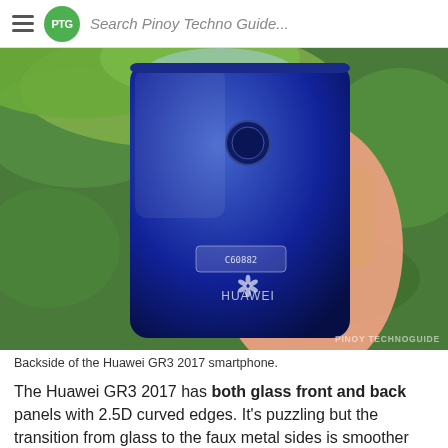Search Pinoy Techno Guide...
[Figure (photo): A hand holding a Huawei GR3 2017 smartphone showing its blue glass back panel with fingerprint sensor and Huawei logo, with grass and a box visible in the background. Watermark reads PINOY TECHNOGUIDE.]
Backside of the Huawei GR3 2017 smartphone.
The Huawei GR3 2017 has both glass front and back panels with 2.5D curved edges. It's puzzling but the transition from glass to the faux metal sides is smoother